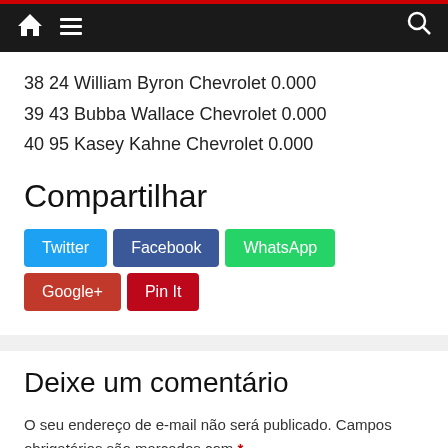Navigation bar with home, menu, and search icons
38 24 William Byron Chevrolet 0.000
39 43 Bubba Wallace Chevrolet 0.000
40 95 Kasey Kahne Chevrolet 0.000
Compartilhar
Twitter | Facebook | WhatsApp | Google+ | Pin It
Deixe um comentário
O seu endereço de e-mail não será publicado. Campos obrigatórios são marcados com *
Comentário